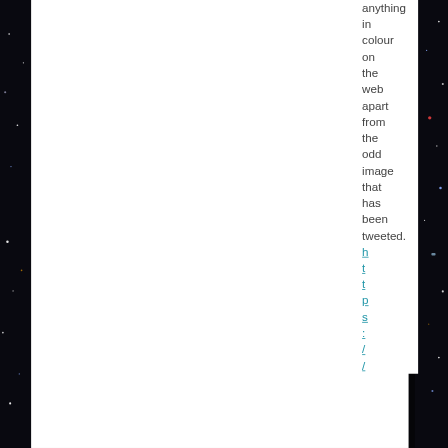[Figure (photo): Dark star field / night sky photo forming the background of the page, with scattered white and colored star dots against black space]
anything in colour on the web apart from the odd image that has been tweeted.
https://